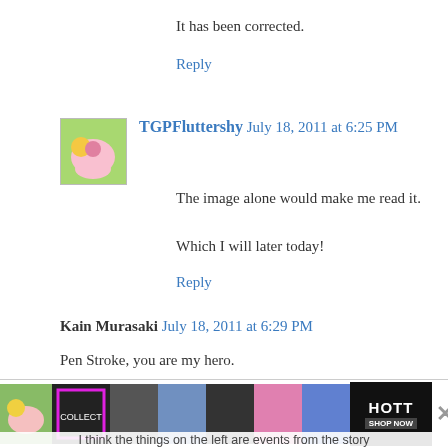It has been corrected.
Reply
TGPFluttershy  July 18, 2011 at 6:25 PM
The image alone would make me read it.

Which I will later today!
Reply
Kain Murasaki  July 18, 2011 at 6:29 PM
Pen Stroke, you are my hero.
I loved Creeping Darkness and
while I hoped this to be a sequel with Nyx.
It looks just as good. I look forward to
reading future chapters of this.
Reply
[Figure (screenshot): Advertisement banner with images of people and HOTT shop now text]
I think the things on the left are events from the story